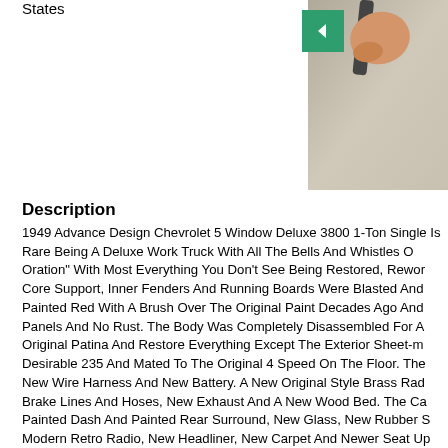States
[Figure (photo): Partial photo showing a hand holding a strap, beige/tan floor visible, cropped navigation interface with green left-arrow button]
Description
1949 Advance Design Chevrolet 5 Window Deluxe 3800 1-Ton Single Is Rare Being A Deluxe Work Truck With All The Bells And Whistles O Oration" With Most Everything You Don't See Being Restored, Rewor Core Support, Inner Fenders And Running Boards Were Blasted And Painted Red With A Brush Over The Original Paint Decades Ago And Panels And No Rust. The Body Was Completely Disassembled For A Original Patina And Restore Everything Except The Exterior Sheet-m Desirable 235 And Mated To The Original 4 Speed On The Floor. The New Wire Harness And New Battery. A New Original Style Brass Rad Brake Lines And Hoses, New Exhaust And A New Wood Bed. The Ca Painted Dash And Painted Rear Surround, New Glass, New Rubber S Modern Retro Radio, New Headliner, New Carpet And Newer Seat Up Road But None Quite Like This! Drive It Daily To Fetch Groceries, Co Business That Will Surely Turn Heads Anywhere You Go! The Truck R And Is Sold As Is. Please Call With Questions Or For More Pictures A Northern Wisconsin And Available For Inspection Anytime By Appoint